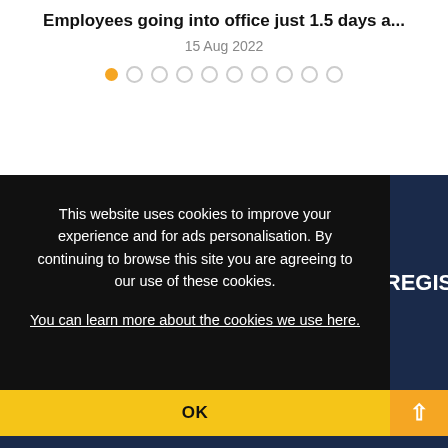Employees going into office just 1.5 days a...
15 Aug 2022
[Figure (other): Carousel pagination dots: first dot filled orange, remaining nine dots are empty circles]
This website uses cookies to improve your experience and for ads personalisation. By continuing to browse this site you are agreeing to our use of these cookies.
You can learn more about the cookies we use here.
OK
REGIS
[Figure (other): Orange square with white upward arrow (scroll-to-top button)]